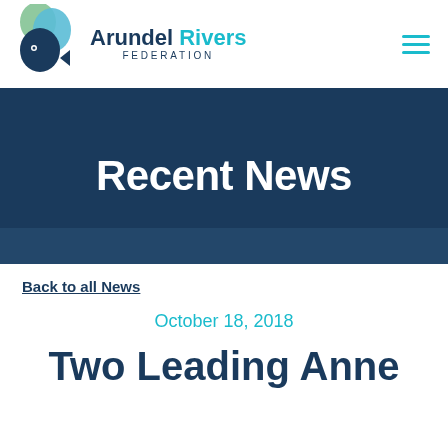Arundel Rivers Federation
Recent News
Back to all News
October 18, 2018
Two Leading Anne